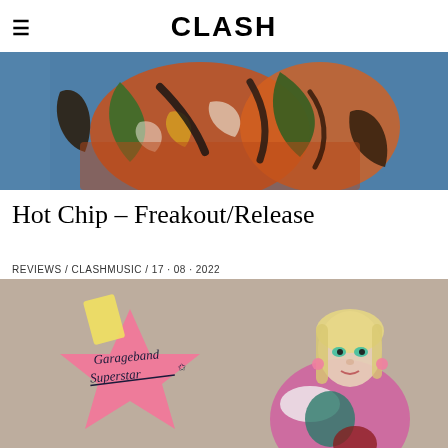CLASH
[Figure (photo): Colorful abstract painting or artwork showing figures in orange, green, blue and black on a blue background]
Hot Chip – Freakout/Release
REVIEWS / CLASHMUSIC / 17 · 08 · 2022
[Figure (photo): Promotional image showing a young blonde woman in a pink satin jacket with fur trim, standing next to a pink star-shaped graphic reading 'Garageband Superstar' on a beige/grey background]